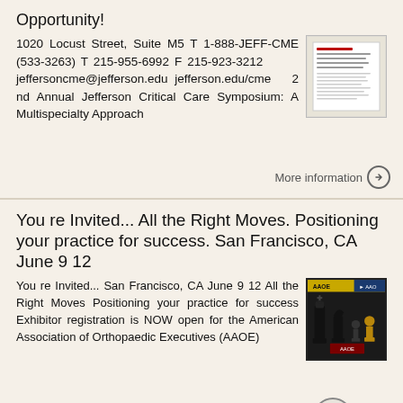Opportunity!
1020 Locust Street, Suite M5 T 1-888-JEFF-CME (533-3263) T 215-955-6992 F 215-923-3212 jeffersoncme@jefferson.edu jefferson.edu/cme 2 nd Annual Jefferson Critical Care Symposium: A Multispecialty Approach
More information →
You re Invited... All the Right Moves. Positioning your practice for success. San Francisco, CA June 9 12
You re Invited... San Francisco, CA June 9 12 All the Right Moves Positioning your practice for success Exhibitor registration is NOW open for the American Association of Orthopaedic Executives (AAOE)
More information →